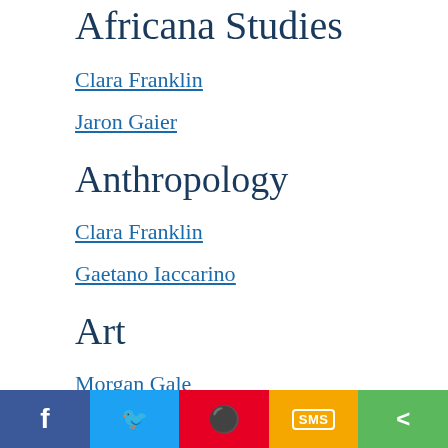Africana Studies
Clara Franklin
Jaron Gaier
Anthropology
Clara Franklin
Gaetano Iaccarino
Art
Morgan Gale
Jacquelyn Schmidt